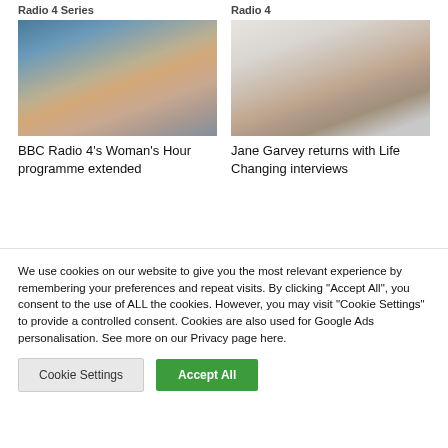Radio 4 Series
Radio 4
[Figure (photo): Portrait photo of a blonde woman smiling, holding a microphone, in a radio studio setting]
[Figure (photo): Portrait photo of Jane Garvey, a woman with dark wavy hair, against a light background]
BBC Radio 4's Woman's Hour programme extended
Jane Garvey returns with Life Changing interviews
We use cookies on our website to give you the most relevant experience by remembering your preferences and repeat visits. By clicking "Accept All", you consent to the use of ALL the cookies. However, you may visit "Cookie Settings" to provide a controlled consent. Cookies are also used for Google Ads personalisation. See more on our Privacy page here.
Cookie Settings
Accept All